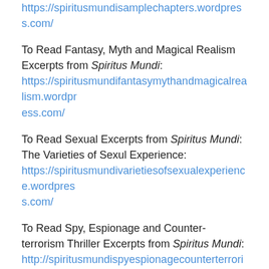https://spiritusmundisamplechapters.wordpress.com/
To Read Fantasy, Myth and Magical Realism Excerpts from Spiritus Mundi: https://spiritusmundifantasymythandmagicalrealism.wordpress.com/
To Read Sexual Excerpts from Spiritus Mundi: The Varieties of Sexul Experience: https://spiritusmundivarietiesofsexualexperience.wordpress.com/
To Read Spy, Espionage and Counter-terrorism Thriller Excerpts from Spiritus Mundi: http://spiritusmundispyespionagecounterterrorism.wordpress.com/
To Read Geopolitical and World War Three Excerpts from Spiritus Mundi: